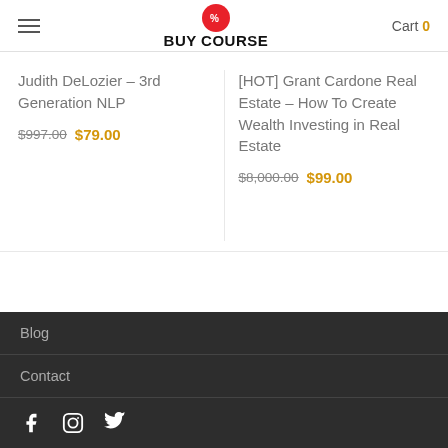BUY COURSE
Judith DeLozier – 3rd Generation NLP
$997.00 $79.00
[HOT] Grant Cardone Real Estate – How To Create Wealth Investing in Real Estate
$8,000.00 $99.00
Blog
Contact
f  Instagram  Twitter